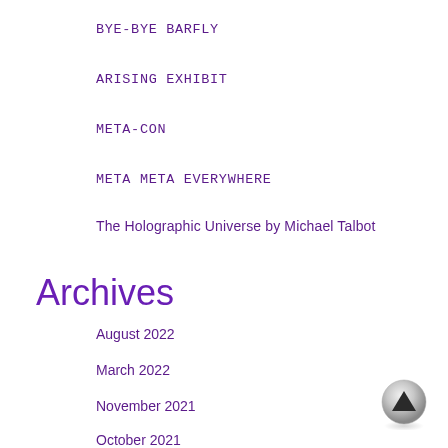BYE-BYE BARFLY
ARISING EXHIBIT
META-CON
META META EVERYWHERE
The Holographic Universe by Michael Talbot
Archives
August 2022
March 2022
November 2021
October 2021
[Figure (illustration): A circular scroll-to-top button with a dark upward-pointing triangle arrow, metallic grey appearance]